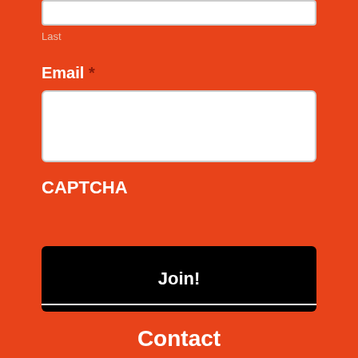Last
Email *
CAPTCHA
Join!
Contact